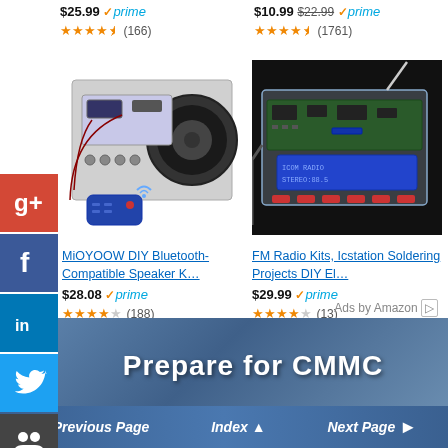$25.99 prime (166) | $10.99 $22.99 prime (1761)
[Figure (photo): MiOYOOW DIY Bluetooth-Compatible Speaker Kit with remote control, acrylic case with speaker components visible]
[Figure (photo): FM Radio Kit in acrylic case with LCD display, antenna, and buttons, on dark background]
MiOYOOW DIY Bluetooth-Compatible Speaker K…
FM Radio Kits, Icstation Soldering Projects DIY El…
$28.08 prime (188)
$29.99 prime (13)
Ads by Amazon
[Figure (infographic): Prepare for CMMC banner with blue gradient background and white bold text]
Previous Page  Index ▲  Next Page